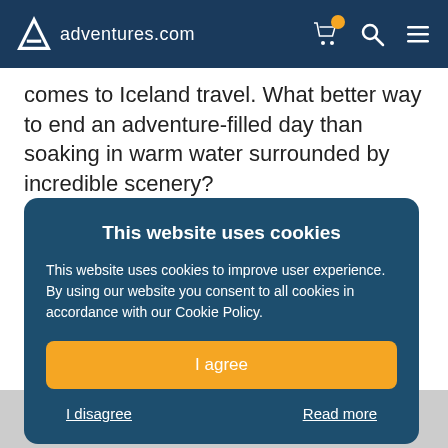adventures.com
comes to Iceland travel. What better way to end an adventure-filled day than soaking in warm water surrounded by incredible scenery?
See More >
This website uses cookies
This website uses cookies to improve user experience. By using our website you consent to all cookies in accordance with our Cookie Policy.
I agree
I disagree   Read more
What to Wear in Iceland